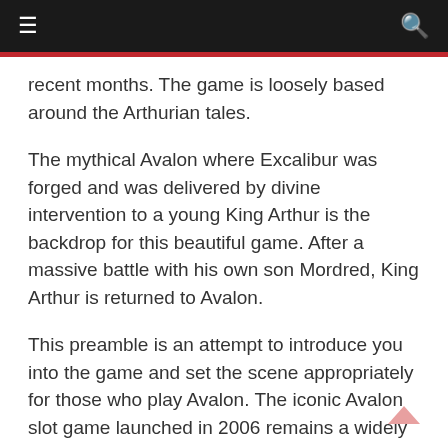≡  🔍
recent months. The game is loosely based around the Arthurian tales.
The mythical Avalon where Excalibur was forged and was delivered by divine intervention to a young King Arthur is the backdrop for this beautiful game. After a massive battle with his own son Mordred, King Arthur is returned to Avalon.
This preamble is an attempt to introduce you into the game and set the scene appropriately for those who play Avalon. The iconic Avalon slot game launched in 2006 remains a widely played online slot game.
Slots are the Game